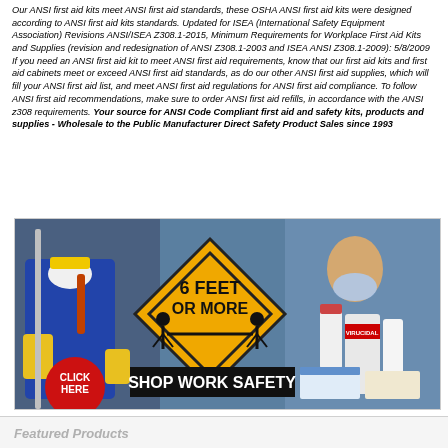Our ANSI first aid kits meet ANSI first aid standards, these OSHA ANSI first aid kits were designed according to ANSI first aid kits standards. Updated for ISEA (International Safety Equipment Association) Revisions ANSI/ISEA Z308.1-2015, Minimum Requirements for Workplace First Aid Kits and Supplies (revision and redesignation of ANSI Z308.1-2003 and ISEA ANSI Z308.1-2009): 5/8/2009 If you need an ANSI first aid kit to meet ANSI first aid requirements, know that our first aid kits and first aid cabinets meet or exceed ANSI first aid standards, as do our other ANSI first aid supplies, which will fill your ANSI first aid list, and meet ANSI first aid regulations for ANSI first aid compliance. To follow ANSI first aid recommendations, make sure to order ANSI first aid refills, in accordance with the ANSI z308 requirements. Your source for ANSI Code Compliant first aid and safety kits, products and supplies - Wholesale to the Public Manufacturer Direct Safety Product Sales since 1993
[Figure (photo): Shop Work Safety promotional image showing a woman in safety gear (mask, goggles, yellow gloves) holding a mop next to a yellow diamond warning sign reading '6 FEET OR MORE' with social distancing icons, and a banner reading 'SHOP WORK SAFETY'. Also shows PPE products including gloves boxes and sanitizer bottles. Red circle in bottom-left with 'CLICK HERE' text.]
Featured Products